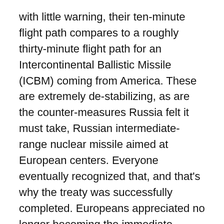with little warning, their ten-minute flight path compares to a roughly thirty-minute flight path for an Intercontinental Ballistic Missile (ICBM) coming from America. These are extremely de-stabilizing, as are the counter-measures Russia felt it must take, Russian intermediate-range nuclear missile aimed at European centers. Everyone eventually recognized that, and that's why the treaty was successfully completed. Europeans appreciated no longer becoming the immediate battlefield in a nuclear war.
But relations with the United States now have entered a new world, and it is not a brave one. America's power establishment has assumed new goals and priorities, and in those, Russia is not viewed well, despite its new identity as a nation ready to participate and peacefully compete with everyone, a nation without the kind of extreme ideas or experience or kind of zealous discipline of the...